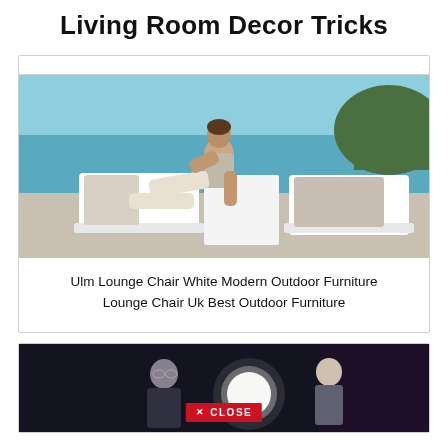Living Room Decor Tricks
[Figure (photo): Man reclining on a white modern outdoor lounge chair by a pool with ocean and cliff views in background]
Ulm Lounge Chair White Modern Outdoor Furniture Lounge Chair Uk Best Outdoor Furniture
[Figure (photo): Two people in a dark scene with a glowing orb, with a red CLOSE button overlay at the bottom center]